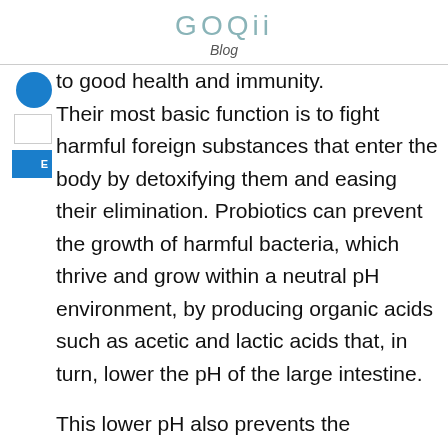GOQii
Blog
to good health and immunity. Their most basic function is to fight harmful foreign substances that enter the body by detoxifying them and easing their elimination. Probiotics can prevent the growth of harmful bacteria, which thrive and grow within a neutral pH environment, by producing organic acids such as acetic and lactic acids that, in turn, lower the pH of the large intestine.
This lower pH also prevents the metabolism of cholesterol and bile acids in the colon. Since